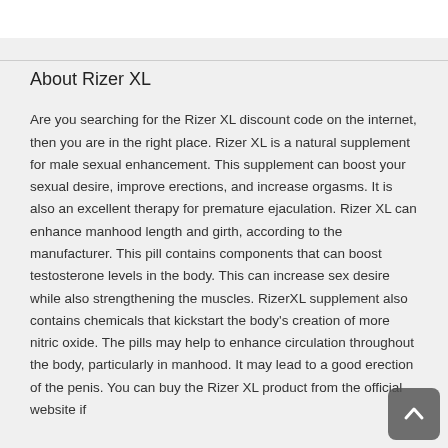About Rizer XL
Are you searching for the Rizer XL discount code on the internet, then you are in the right place. Rizer XL is a natural supplement for male sexual enhancement. This supplement can boost your sexual desire, improve erections, and increase orgasms. It is also an excellent therapy for premature ejaculation. Rizer XL can enhance manhood length and girth, according to the manufacturer. This pill contains components that can boost testosterone levels in the body. This can increase sex desire while also strengthening the muscles. RizerXL supplement also contains chemicals that kickstart the body's creation of more nitric oxide. The pills may help to enhance circulation throughout the body, particularly in manhood. It may lead to a good erection of the penis. You can buy the Rizer XL product from the official website if